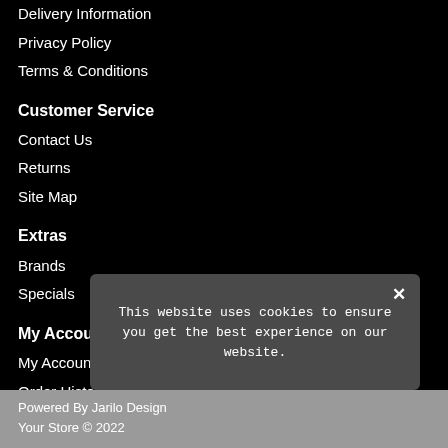Delivery Information
Privacy Policy
Terms & Conditions
Customer Service
Contact Us
Returns
Site Map
Extras
Brands
Specials
My Account
My Account
Order History
Wish List
Newsletter
This website uses cookies to ensure you get the best experience on our website.
Powered By Jarilo Design
Your Store © 2022